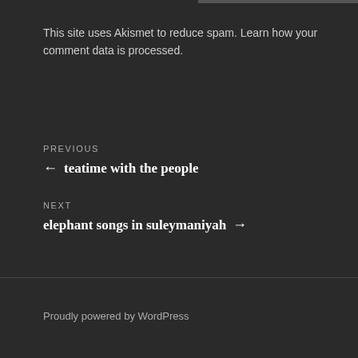This site uses Akismet to reduce spam. Learn how your comment data is processed.
PREVIOUS
← teatime with the people
NEXT
elephant songs in suleymaniyah →
Proudly powered by WordPress